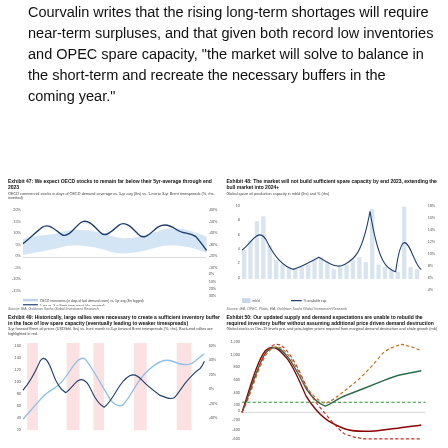Courvalin writes that the rising long-term shortages will require near-term surpluses, and that given both record low inventories and OPEC spare capacity, “the market will solve to balance in the short-term and recreate the necessary buffers in the coming year.”
[Figure (continuous-plot): Exhibit 47: We expect OECD stocks to remain far below their 5yr-average through end 2023. OECD commercial stocks in days of OECD demand coverage vs. 5-yr avg (lhs) vs. 1-mo to 3-yr Brent timespreads (%, rhs, inverted). Dual-axis line chart showing OECD inventories and Brent timespreads over time.]
[Figure (continuous-plot): Exhibit 48: The market will not build sufficient spare capacity by end 2023, extending the bull market into 2024+. Global spare oil production capacity in mb/d (lhs) and % (rhs). Dual-axis line and bar chart.]
[Figure (continuous-plot): Exhibit 49: Historically, large rallies were necessary to create a sufficient inventory buffer in the face of low spare capacity (eventually leading to weaker timespreads). 3-yr forward Brent oil prices (USD/bbl, lhs) vs. front month to 3-yr forward Brent timespreads (%, rhs). Back-end rallies highlighted in red.]
[Figure (continuous-plot): Exhibit 50: Our updated supply and demand expectations are unable to rebuild the required inventory buffer without assuming additional price driven demand destruction. Global stocks vs Dec-19 levels pre- and post-higher prices required from marginal demand destruction and shale growth (mb).]